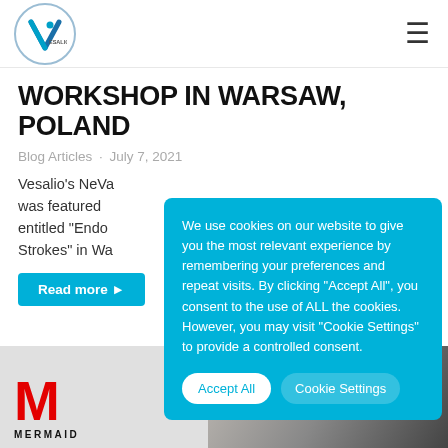[Figure (logo): Vesalio circular logo with stylized V and dot]
WORKSHOP IN WARSAW, POLAND
Blog Articles · July 7, 2021
Vesalio's NeVa was featured entitled "Endo Strokes" in Wa
Read more
[Figure (infographic): Cookie consent popup overlay with blue background. Text: We use cookies on our website to give you the most relevant experience by remembering your preferences and repeat visits. By clicking "Accept All", you consent to the use of ALL the cookies. However, you may visit "Cookie Settings" to provide a controlled consent. Buttons: Accept All, Cookie Settings]
[Figure (logo): Mermaid logo — large red M with MERMAID text below, with a black and white photo of people in background]